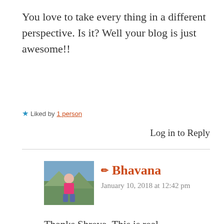You love to take every thing in a different perspective. Is it? Well your blog is just awesome!!
★ Liked by 1 person
Log in to Reply
✏ Bhavana
January 10, 2018 at 12:42 pm
Thanks Shreya. This is real compliment for me & you made my day by saying this.
★ Liked by 1 person
Log in to Reply